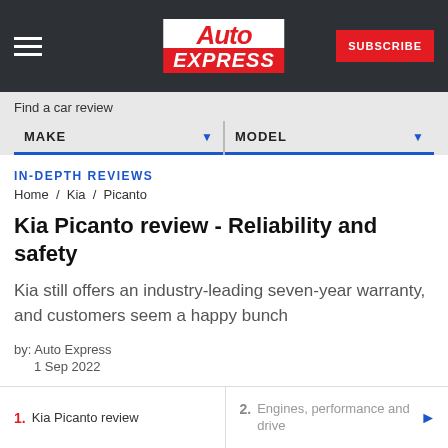Auto Express — SUBSCRIBE
Find a car review
MAKE ▼   MODEL ▼
IN-DEPTH REVIEWS
Home / Kia / Picanto
Kia Picanto review - Reliability and safety
Kia still offers an industry-leading seven-year warranty, and customers seem a happy bunch
by: Auto Express
1 Sep 2022
1. Kia Picanto review   2. Engines, performance and drive ▶